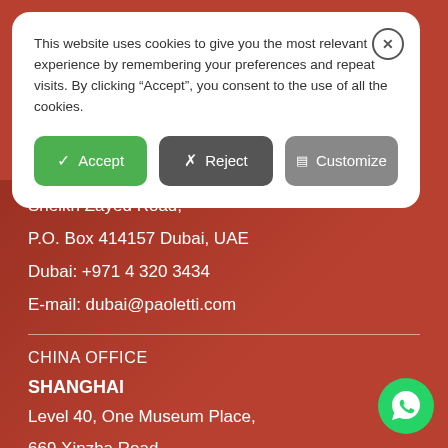This website uses cookies to give you the most relevant experience by remembering your preferences and repeat visits. By clicking “Accept”, you consent to the use of all the cookies.
Accept | Reject | Customize
Sheikh Zayed Road,
P.O. Box 414157 Dubai, UAE
Dubai: +971 4 320 3434
E-mail: dubai@paoletti.com
CHINA OFFICE
SHANGHAI
Level 40, One Museum Place,
669 Xinzha Road